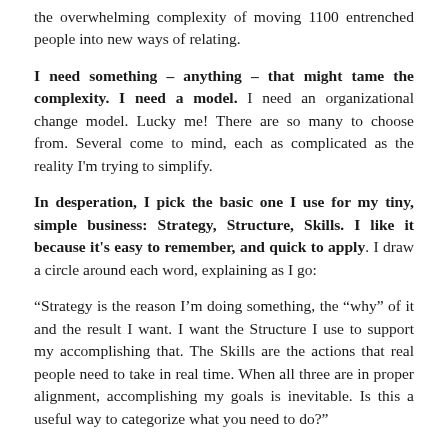the overwhelming complexity of moving 1100 entrenched people into new ways of relating.
I need something – anything – that might tame the complexity.  I need a model.   I need an organizational change model.  Lucky me!  There are so many to choose from.  Several come to mind, each as complicated as the reality I'm trying to simplify.
In desperation, I pick the basic one I use for my tiny, simple business:  Strategy, Structure, Skills.   I like it because it's easy to remember, and quick to apply.  I draw a circle around each word, explaining as I go:
“Strategy is the reason I’m doing something, the “why” of it and the result I want.  I want the Structure I use to support my accomplishing that.  The Skills are the actions that real people need to take in real time.  When all three are in proper alignment, accomplishing my goals is inevitable.  Is this a useful way to categorize what you need to do?”